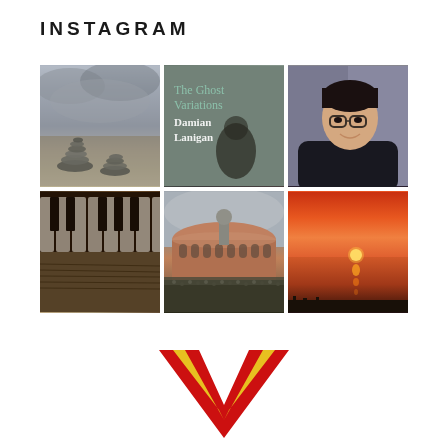INSTAGRAM
[Figure (photo): 6-photo Instagram grid: (1) black and white photo of stacked balancing stones against cloudy sky, (2) book cover 'The Ghost Variations' by Damian Lanigan with blurred silhouette, (3) portrait of young man with glasses and dark shirt, (4) close-up of piano keys with sheet music, (5) Royal Albert Hall exterior with large crowd gathered outside, (6) vivid red-orange sunset over water with silhouettes]
[Figure (logo): Large red and yellow V-shaped logo at bottom center]